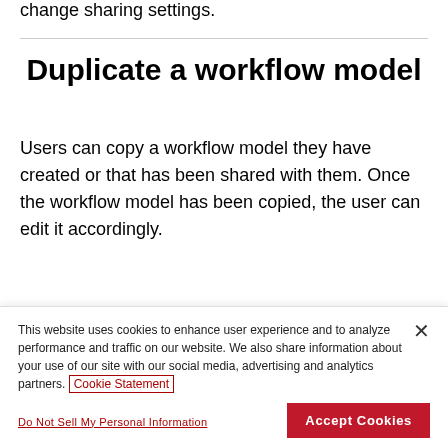change sharing settings.
Duplicate a workflow model
Users can copy a workflow model they have created or that has been shared with them. Once the workflow model has been copied, the user can edit it accordingly.
If a user copies a shared workflow model they become
This website uses cookies to enhance user experience and to analyze performance and traffic on our website. We also share information about your use of our site with our social media, advertising and analytics partners. Cookie Statement
Do Not Sell My Personal Information
Accept Cookies